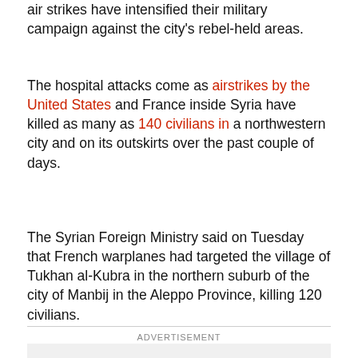air strikes have intensified their military campaign against the city's rebel-held areas.
The hospital attacks come as airstrikes by the United States and France inside Syria have killed as many as 140 civilians in a northwestern city and on its outskirts over the past couple of days.
The Syrian Foreign Ministry said on Tuesday that French warplanes had targeted the village of Tukhan al-Kubra in the northern suburb of the city of Manbij in the Aleppo Province, killing 120 civilians.
ADVERTISEMENT